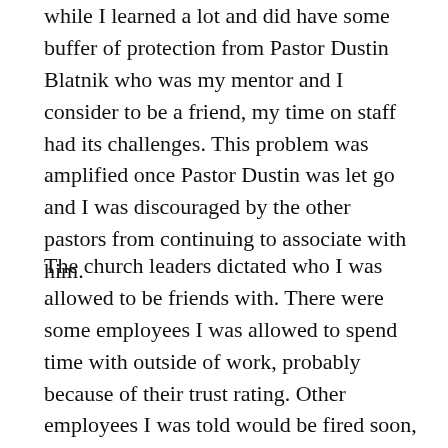while I learned a lot and did have some buffer of protection from Pastor Dustin Blatnik who was my mentor and I consider to be a friend, my time on staff had its challenges. This problem was amplified once Pastor Dustin was let go and I was discouraged by the other pastors from continuing to associate with him.
The church leaders dictated who I was allowed to be friends with. There were some employees I was allowed to spend time with outside of work, probably because of their trust rating. Other employees I was told would be fired soon, and that if I were to hang out with them I might also be fired. Ironically a friend who respected my decision when I ultimately decided to resign and allowed me time to